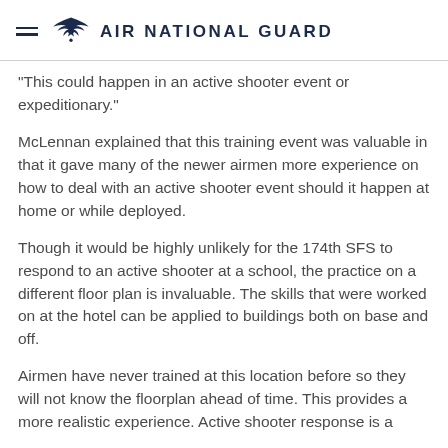AIR NATIONAL GUARD
"This could happen in an active shooter event or expeditionary."
McLennan explained that this training event was valuable in that it gave many of the newer airmen more experience on how to deal with an active shooter event should it happen at home or while deployed.
Though it would be highly unlikely for the 174th SFS to respond to an active shooter at a school, the practice on a different floor plan is invaluable. The skills that were worked on at the hotel can be applied to buildings both on base and off.
Airmen have never trained at this location before so they will not know the floorplan ahead of time. This provides a more realistic experience. Active shooter response is a